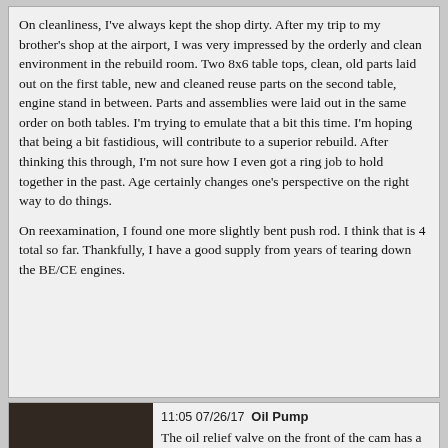On cleanliness, I've always kept the shop dirty. After my trip to my brother's shop at the airport, I was very impressed by the orderly and clean environment in the rebuild room. Two 8x6 table tops, clean, old parts laid out on the first table, new and cleaned reuse parts on the second table, engine stand in between. Parts and assemblies were laid out in the same order on both tables. I'm trying to emulate that a bit this time. I'm hoping that being a bit fastidious, will contribute to a superior rebuild. After thinking this through, I'm not sure how I even got a ring job to hold together in the past. Age certainly changes one's perspective on the right way to do things.
On reexamination, I found one more slightly bent push rod. I think that is 4 total so far. Thankfully, I have a good supply from years of tearing down the BE/CE engines.
11:05 07/26/17  Oil Pump
[Figure (photo): Photo of engine parts/tools on a workbench, reddish/brown machinery visible]
The oil relief valve on the front of the cam has a ball that seats against the came. I've purchased 10 SS316 stainless loose ball bearings (because that was the smallest quantity I could get). I went for 5/8s because the micrometer showed between .622 and .623. The .625 of the 5/8s should give me a 2 or 3 thousands to...